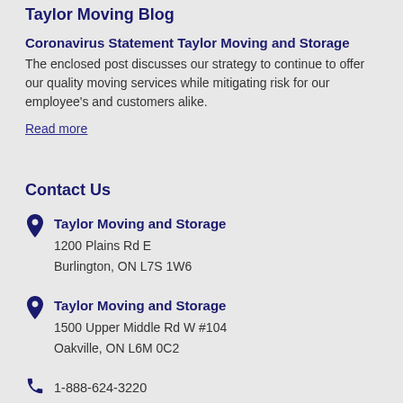Taylor Moving Blog
Coronavirus Statement Taylor Moving and Storage
The enclosed post discusses our strategy to continue to offer our quality moving services while mitigating risk for our employee's and customers alike.
Read more
Contact Us
Taylor Moving and Storage
1200 Plains Rd E
Burlington, ON L7S 1W6
Taylor Moving and Storage
1500 Upper Middle Rd W #104
Oakville, ON L6M 0C2
1-888-624-3220